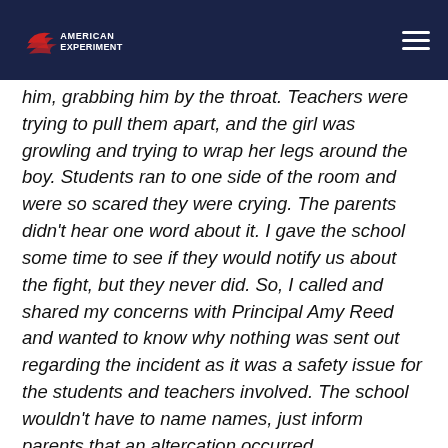American Experiment
him, grabbing him by the throat. Teachers were trying to pull them apart, and the girl was growling and trying to wrap her legs around the boy. Students ran to one side of the room and were so scared they were crying. The parents didn't hear one word about it. I gave the school some time to see if they would notify us about the fight, but they never did. So, I called and shared my concerns with Principal Amy Reed and wanted to know why nothing was sent out regarding the incident as it was a safety issue for the students and teachers involved. The school wouldn't have to name names, just inform parents that an altercation occurred.
Did school leadership respond to your concerns?